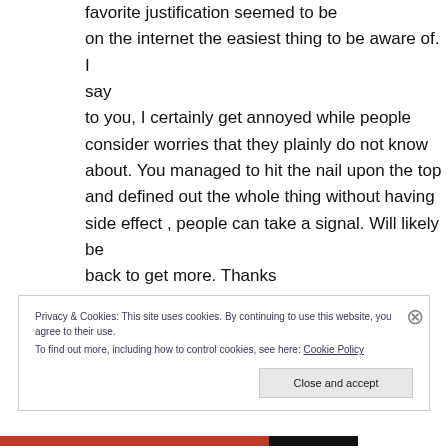favorite justification seemed to be on the internet the easiest thing to be aware of. I say to you, I certainly get annoyed while people consider worries that they plainly do not know about. You managed to hit the nail upon the top and defined out the whole thing without having side effect , people can take a signal. Will likely be back to get more. Thanks
Privacy & Cookies: This site uses cookies. By continuing to use this website, you agree to their use. To find out more, including how to control cookies, see here: Cookie Policy
Close and accept